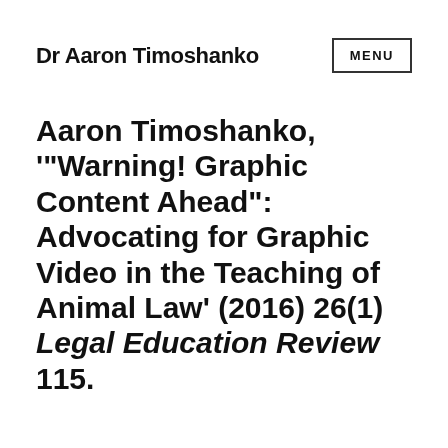Dr Aaron Timoshanko
Aaron Timoshanko, '"Warning! Graphic Content Ahead": Advocating for Graphic Video in the Teaching of Animal Law' (2016) 26(1) Legal Education Review 115.